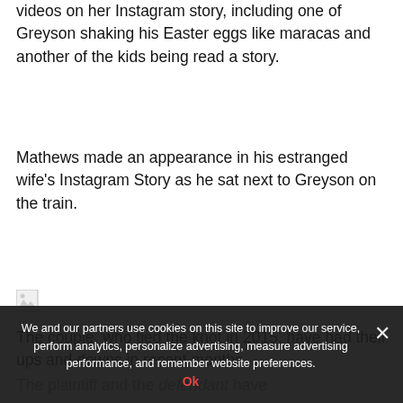videos on her Instagram story, including one of Greyson shaking his Easter eggs like maracas and another of the kids being read a story.
Mathews made an appearance in his estranged wife's Instagram Story as he sat next to Greyson on the train.
[Figure (photo): Broken/unloaded image placeholder (small image icon)]
The couple, who tied the knot in 2015, have had their ups and downs in recent months
We and our partners use cookies on this site to improve our service, perform analytics, personalize advertising, measure advertising performance, and remember website preferences.
Ok
The plaintiff and the defendant have